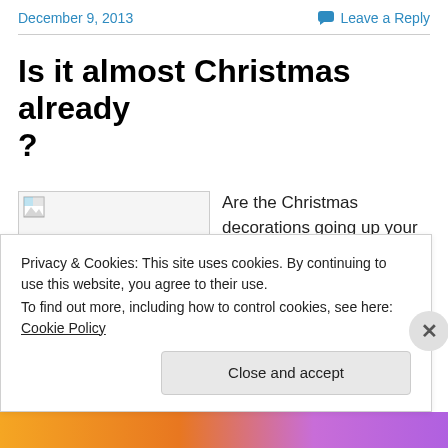December 9, 2013    Leave a Reply
Is it almost Christmas already?
[Figure (photo): Broken image placeholder labeled 'xmas-1']
Are the Christmas decorations going up your local shopping malls yet
Privacy & Cookies: This site uses cookies. By continuing to use this website, you agree to their use.
To find out more, including how to control cookies, see here: Cookie Policy
Close and accept